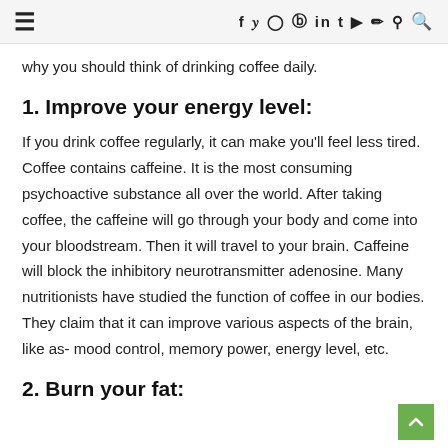≡  f y © ℗ in t ▶ ⌥ ⊕ 🔍
why you should think of drinking coffee daily.
1. Improve your energy level:
If you drink coffee regularly, it can make you'll feel less tired. Coffee contains caffeine. It is the most consuming psychoactive substance all over the world. After taking coffee, the caffeine will go through your body and come into your bloodstream. Then it will travel to your brain. Caffeine will block the inhibitory neurotransmitter adenosine. Many nutritionists have studied the function of coffee in our bodies. They claim that it can improve various aspects of the brain, like as- mood control, memory power, energy level, etc.
2. Burn your fat: